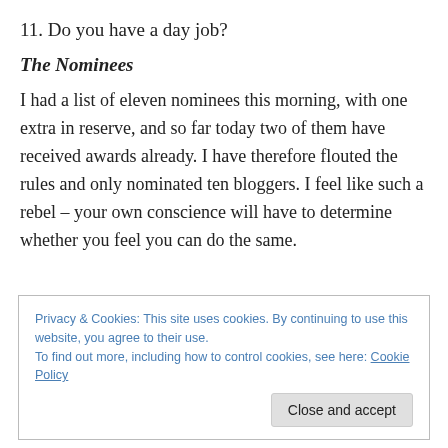11. Do you have a day job?
The Nominees
I had a list of eleven nominees this morning, with one extra in reserve, and so far today two of them have received awards already. I have therefore flouted the rules and only nominated ten bloggers. I feel like such a rebel – your own conscience will have to determine whether you feel you can do the same.
Privacy & Cookies: This site uses cookies. By continuing to use this website, you agree to their use.
To find out more, including how to control cookies, see here: Cookie Policy
Close and accept